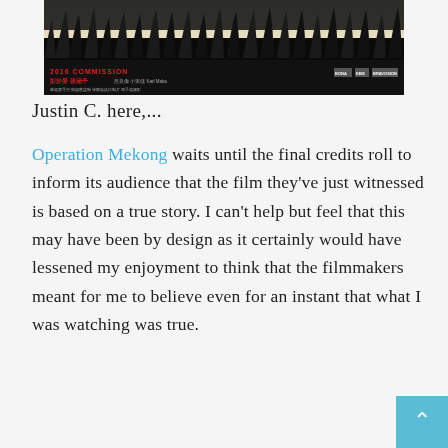[Figure (photo): Movie banner/poster for Operation Mekong showing dark silhouettes of grass/reeds against a bright sky, with Chinese text credits in red and white at the bottom, and production company logos at bottom right]
Justin C. here,...
Operation Mekong waits until the final credits roll to inform its audience that the film they've just witnessed is based on a true story. I can't help but feel that this may have been by design as it certainly would have lessened my enjoyment to think that the filmmakers meant for me to believe even for an instant that what I was watching was true.